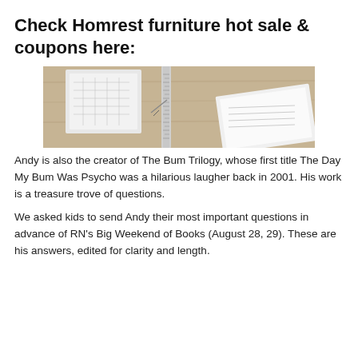Check Homrest furniture hot sale & coupons here:
[Figure (photo): Top-down view of architectural or design drawings/blueprints on a wooden surface with drafting tools and papers]
Andy is also the creator of The Bum Trilogy, whose first title The Day My Bum Was Psycho was a hilarious laugher back in 2001. His work is a treasure trove of questions.
We asked kids to send Andy their most important questions in advance of RN's Big Weekend of Books (August 28, 29). These are his answers, edited for clarity and length.